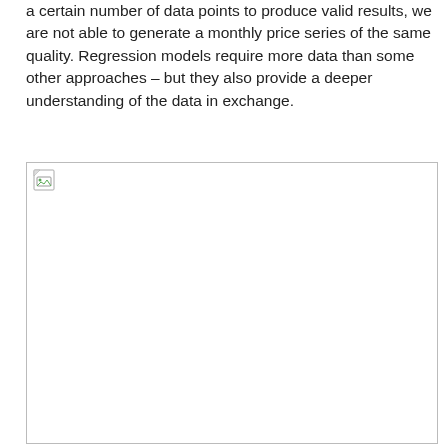a certain number of data points to produce valid results, we are not able to generate a monthly price series of the same quality. Regression models require more data than some other approaches – but they also provide a deeper understanding of the data in exchange.
[Figure (other): Broken/missing image placeholder with a small broken image icon in the top-left corner. The image content is not loaded.]